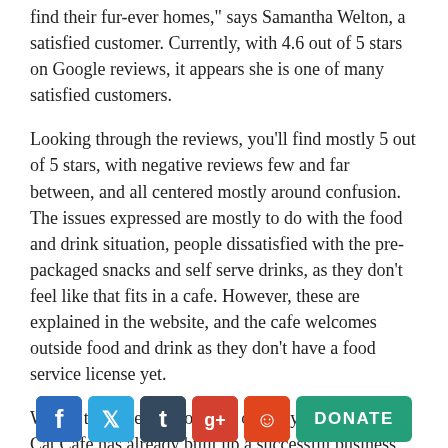find their fur-ever homes," says Samantha Welton, a satisfied customer. Currently, with 4.6 out of 5 stars on Google reviews, it appears she is one of many satisfied customers.
Looking through the reviews, you'll find mostly 5 out of 5 stars, with negative reviews few and far between, and all centered mostly around confusion. The issues expressed are mostly to do with the food and drink situation, people dissatisfied with the pre-packaged snacks and self serve drinks, as they don't feel like that fits in a cafe. However, these are explained in the website, and the cafe welcomes outside food and drink as they don't have a food service license yet.
Within the time span of little over a year, the Happy Cat Cafe has already built up a successful business that brings in many customers resulting in numerous
[Figure (other): Social media sharing icons (Facebook, Twitter, Tumblr, Google+, Reddit) and a DONATE button]